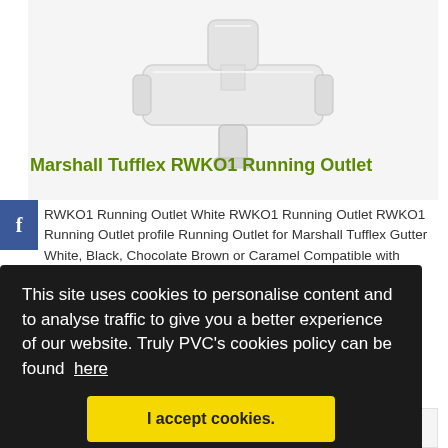[Figure (photo): White plastic T-shaped running outlet fitting (Marshall Tufflex RWKO1) on a light grey background]
Marshall Tufflex RWKO1 Running Outlet
RWKO1 Running Outlet White RWKO1 Running Outlet RWKO1 Running Outlet profile Running Outlet for Marshall Tufflex Gutter White, Black, Chocolate Brown or Caramel Compatible with
[Figure (other): Cookie consent banner overlay: 'This site uses cookies to personalise content and to analyse traffic to give you a better experience of our website. Truly PVC's cookies policy can be found here' with 'I accept cookies.' button]
[Figure (photo): Partial view of a product at the bottom of the page]